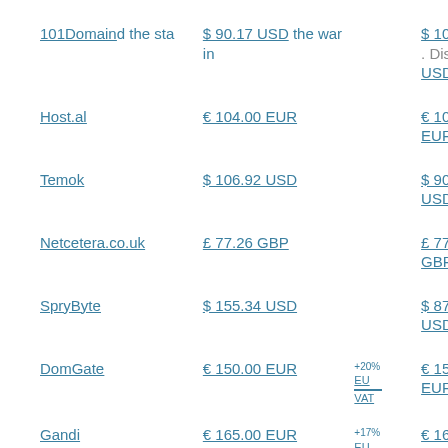| Provider | Price 1 | VAT | Price 2 | VAT | Price 3 |
| --- | --- | --- | --- | --- | --- |
| 101Domain | $ 90.17 USD |  | $ 109.08 USD | Dismiss ✕ | $ 99.18 USD |
| Host.al | € 104.00 EUR |  | € 104.00 EUR |  | € 104.00 EUR |
| Temok | $ 106.92 USD |  | $ 90.12 USD |  | $ 127.32 USD |
| Netcetera.co.uk | £ 77.26 GBP |  | £ 77.26 GBP |  | £ 104.46 GBP |
| SpryByte | $ 155.34 USD |  | $ 87.81 USD |  | $ 155.34 USD |
| DomGate | € 150.00 EUR | +20% EU VAT | € 150.00 EUR | +20% EU VAT | € 150.00 EUR |
| Gandi | € 165.00 EUR | +17% EU | € 165.00 EUR | +17% EU | € 162.45 EUR |